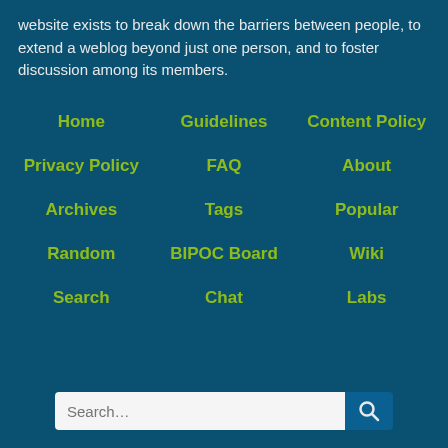website exists to break down the barriers between people, to extend a weblog beyond just one person, and to foster discussion among its members.
Home
Guidelines
Content Policy
Privacy Policy
FAQ
About
Archives
Tags
Popular
Random
BIPOC Board
Wiki
Search
Chat
Labs